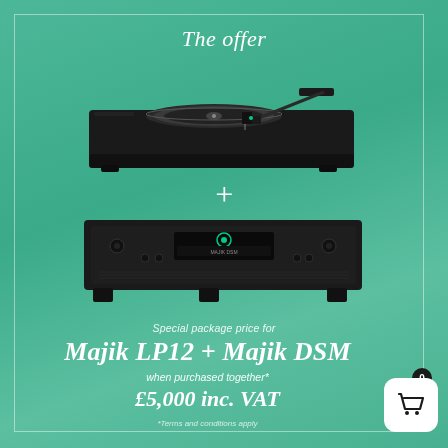The offer
[Figure (photo): Black Majik LP12 turntable (top view showing platter and tonearm) on green background]
+
[Figure (photo): Black Majik DSM amplifier/streamer unit on green background]
Special package price for
Majik LP12 + Majik DSM
when purchased together*
£5,000 inc. VAT
*Terms and conditions apply